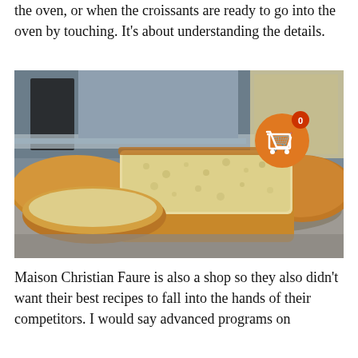the oven, or when the croissants are ready to go into the oven by touching. It's about understanding the details.
[Figure (photo): Close-up photo of sliced bread rolls showing the fluffy interior crumb, placed on a surface. A blurred kitchen background is visible. An orange circular shopping cart icon with '0' badge is overlaid in the upper-right area of the photo.]
Maison Christian Faure is also a shop so they also didn't want their best recipes to fall into the hands of their competitors. I would say advanced programs on